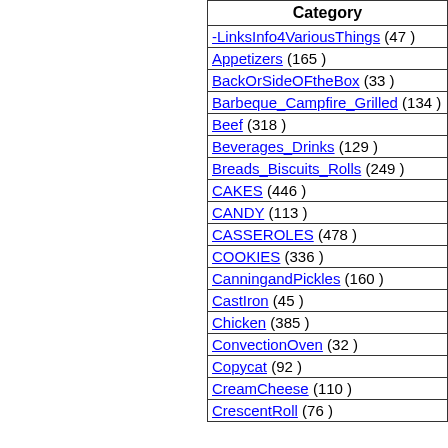| Category |
| --- |
| -LinksInfo4VariousThings (47 ) |
| Appetizers (165 ) |
| BackOrSideOFtheBox (33 ) |
| Barbeque_Campfire_Grilled (134 ) |
| Beef (318 ) |
| Beverages_Drinks (129 ) |
| Breads_Biscuits_Rolls (249 ) |
| CAKES (446 ) |
| CANDY (113 ) |
| CASSEROLES (478 ) |
| COOKIES (336 ) |
| CanningandPickles (160 ) |
| CastIron (45 ) |
| Chicken (385 ) |
| ConvectionOven (32 ) |
| Copycat (92 ) |
| CreamCheese (110 ) |
| CrescentRoll (76 ) |